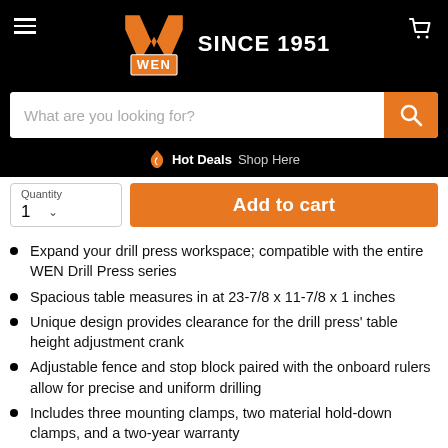[Figure (logo): WEN logo with orange W and orange/black WEN text block, with 'SINCE 1951' in white bold text to the right]
[Figure (screenshot): Search bar with placeholder 'What are you looking for?' and orange search button with magnifying glass icon]
Hot Deals  Shop Here
Quantity
1
Add to cart
Expand your drill press workspace; compatible with the entire WEN Drill Press series
Spacious table measures in at 23-7/8 x 11-7/8 x 1 inches
Unique design provides clearance for the drill press' table height adjustment crank
Adjustable fence and stop block paired with the onboard rulers allow for precise and uniform drilling
Includes three mounting clamps, two material hold-down clamps, and a two-year warranty